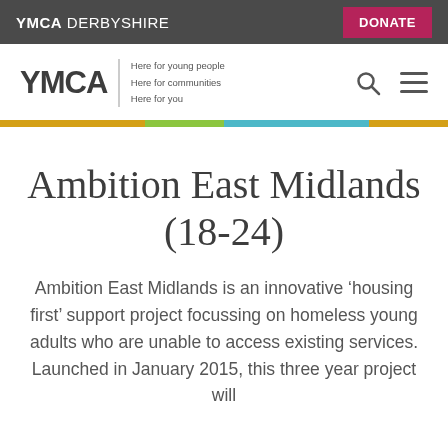YMCA DERBYSHIRE   DONATE
[Figure (logo): YMCA logo with tagline: Here for young people, Here for communities, Here for you. Search and menu icons on the right.]
Ambition East Midlands (18-24)
Ambition East Midlands is an innovative ‘housing first’ support project focussing on homeless young adults who are unable to access existing services. Launched in January 2015, this three year project will